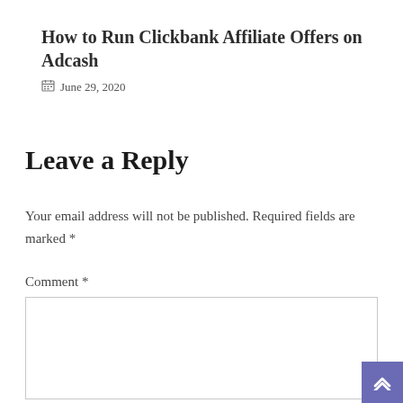How to Run Clickbank Affiliate Offers on Adcash
June 29, 2020
Leave a Reply
Your email address will not be published. Required fields are marked *
Comment *